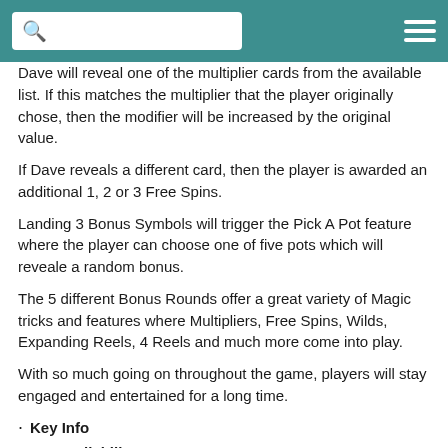[Search bar and hamburger menu]
Dave will reveal one of the multiplier cards from the available list. If this matches the multiplier that the player originally chose, then the modifier will be increased by the original value.
If Dave reveals a different card, then the player is awarded an additional 1, 2 or 3 Free Spins.
Landing 3 Bonus Symbols will trigger the Pick A Pot feature where the player can choose one of five pots which will reveale a random bonus.
The 5 different Bonus Rounds offer a great variety of Magic tricks and features where Multipliers, Free Spins, Wilds, Expanding Reels, 4 Reels and much more come into play.
With so much going on throughout the game, players will stay engaged and entertained for a long time.
Key Info
Availability: EU & UK
Volatility: Low/Medium
RTP: 96%
Link to demo: https://www.sgdigital.com/roadmaps/game-dave-lame-bad-magician.html